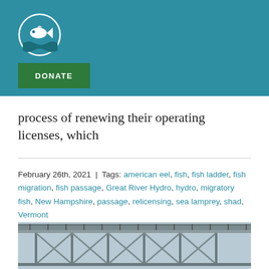[Figure (logo): Fish conservation organization logo — circular badge with white fish silhouette on teal/green background with water waves]
[Figure (other): Green DONATE button]
process of renewing their operating licenses, which
February 26th, 2021  |  Tags: american eel, fish, fish ladder, fish migration, fish passage, Great River Hydro, hydro, migratory fish, New Hampshire, passage, relicensing, sea lamprey, shad, Vermont
[Figure (photo): Photograph of a bridge structure — metal truss bridge from below/side angle, overcast sky background]